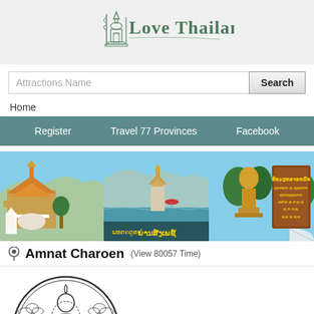[Figure (logo): Love Thailand website logo with Thai temple illustration and green text]
Attractions Name
Search
Home
Register | Travel 77 Provinces | Facebook
[Figure (photo): Banner composite photo showing Thai temples, river landscape, Buddha statue, and Thai signage]
Amnat Charoen (View 80057 Time)
[Figure (illustration): Black and white circular emblem/seal of Amnat Charoen province showing a seated Buddha figure]